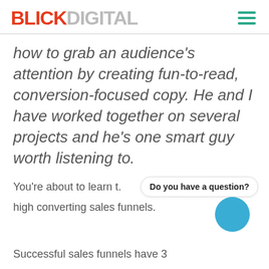BLICKDIGITAL
how to grab an audience's attention by creating fun-to-read, conversion-focused copy. He and I have worked together on several projects and he's one smart guy worth listening to.
You're about to learn t. high converting sales funnels.
Do you have a question?
Successful sales funnels have 3